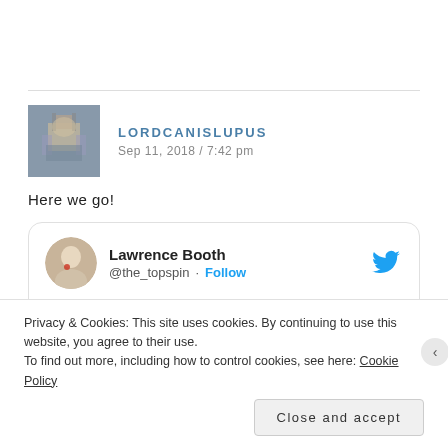[Figure (photo): User avatar for LORDCANISLUPUS showing a cathedral/ornate building]
LORDCANISLUPUS
Sep 11, 2018 / 7:42 pm
Here we go!
[Figure (screenshot): Embedded tweet card from Lawrence Booth @the_topspin with Follow button and Twitter bird icon]
Privacy & Cookies: This site uses cookies. By continuing to use this website, you agree to their use.
To find out more, including how to control cookies, see here: Cookie Policy
Close and accept